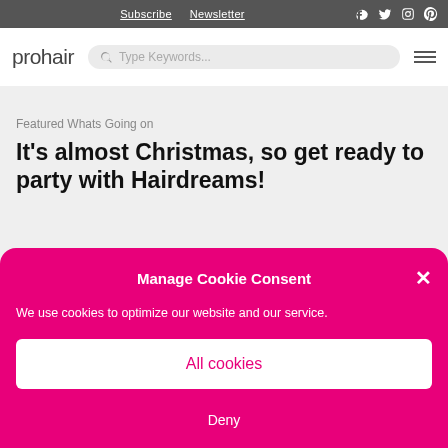Subscribe | Newsletter | [social icons]
[Figure (logo): prohair logo with search bar and hamburger menu]
Featured Whats Going on
It's almost Christmas, so get ready to party with Hairdreams!
Manage Cookie Consent
We use cookies to optimize our website and our service.
All cookies
Deny